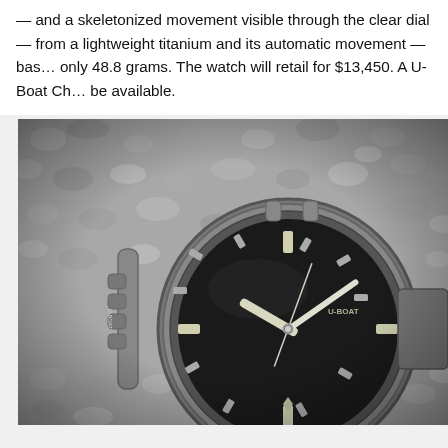— and a skeletonized movement visible through the clear dial — from a lightweight titanium and its automatic movement — bas… only 48.8 grams. The watch will retail for $13,450. A U-Boat Ch… be available.
[Figure (photo): Close-up black and white photograph of a U-Boat watch with a dark dial, visible hour markers, hands, and a crown guard, resting on a rocky or gravelly surface.]